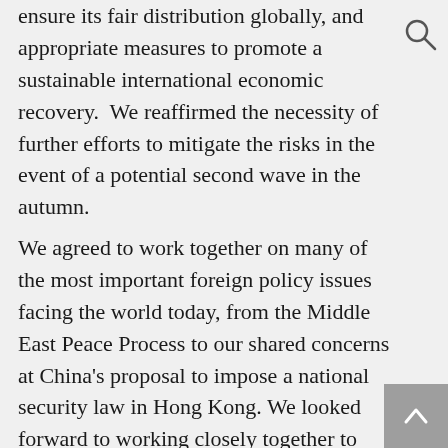ensure its fair distribution globally, and appropriate measures to promote a sustainable international economic recovery. We reaffirmed the necessity of further efforts to mitigate the risks in the event of a potential second wave in the autumn.
We agreed to work together on many of the most important foreign policy issues facing the world today, from the Middle East Peace Process to our shared concerns at China's proposal to impose a national security law in Hong Kong. We looked forward to working closely together to raise climate ambition and to make a success of COP 26 and of the Biodiversity Cop 15. We continue to support UN-led efforts to resolve the ongoing conflicts in Libya and Yemen, and remain